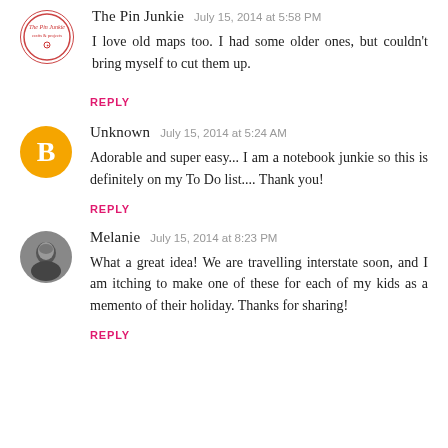[Figure (illustration): The Pin Junkie avatar - circular logo with red text]
The Pin Junkie  July 15, 2014 at 5:58 PM
I love old maps too. I had some older ones, but couldn't bring myself to cut them up.
REPLY
[Figure (illustration): Blogger default orange avatar with white B]
Unknown  July 15, 2014 at 5:24 AM
Adorable and super easy... I am a notebook junkie so this is definitely on my To Do list.... Thank you!
REPLY
[Figure (photo): Melanie profile photo - black and white photo of a woman]
Melanie  July 15, 2014 at 8:23 PM
What a great idea! We are travelling interstate soon, and I am itching to make one of these for each of my kids as a memento of their holiday. Thanks for sharing!
REPLY